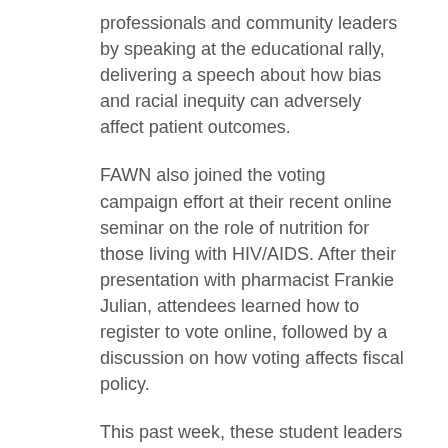professionals and community leaders by speaking at the educational rally, delivering a speech about how bias and racial inequity can adversely affect patient outcomes.
FAWN also joined the voting campaign effort at their recent online seminar on the role of nutrition for those living with HIV/AIDS. After their presentation with pharmacist Frankie Julian, attendees learned how to register to vote online, followed by a discussion on how voting affects fiscal policy.
This past week, these student leaders initiated several online and in-person events to bolster their voting campaign.
Activities have included Zoom presentations, online games with prizes, social media posts, and passing out flyers with voting information in areas surrounding Wayne State's campus. The WSU Up to